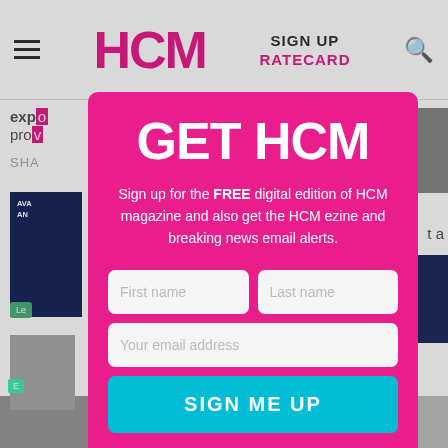HCM | SIGN UP | RATECARD
[Figure (screenshot): HCM website background with partial article text ('expo...', 'prov...', 'SHA...'), an advertisement box, a 'LATE' section label, and sidebar images]
GET HCM
Sign up for the FREE digital edition of HCM magazine and also get the HCM ezine and breaking news email alerts.
First name
Last name
Your email address
SIGN ME UP
Not right now, thanks